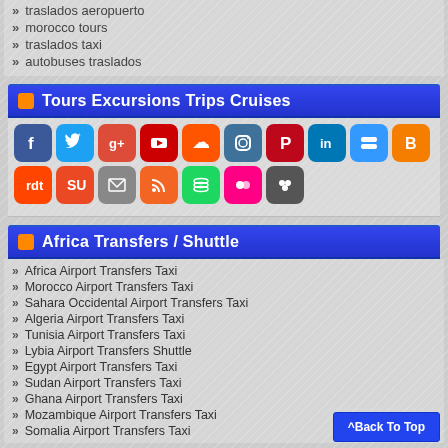traslados aeropuerto
morocco tours
traslados taxi
autobuses traslados
Tours Excursions Trips Cruises
[Figure (other): Social media icon grid: Facebook, Twitter, Google+, YouTube, SoundCloud, Instagram, Pinterest, LinkedIn, Delicious, Blogger (row 1); Reddit, StumbleUpon, Email, RSS, Spotify, Flickr, Groupme (row 2)]
Africa Transfers / Shuttle
Africa Airport Transfers Taxi
Morocco Airport Transfers Taxi
Sahara Occidental Airport Transfers Taxi
Algeria Airport Transfers Taxi
Tunisia Airport Transfers Taxi
Lybia Airport Transfers Shuttle
Egypt Airport Transfers Taxi
Sudan Airport Transfers Taxi
Ghana Airport Transfers Taxi
Mozambique Airport Transfers Taxi
Somalia Airport Transfers Taxi
^Back To Top